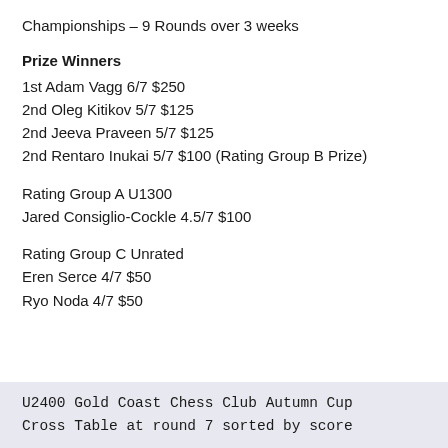Championships – 9 Rounds over 3 weeks
Prize Winners
1st Adam Vagg 6/7 $250
2nd Oleg Kitikov 5/7 $125
2nd Jeeva Praveen 5/7 $125
2nd Rentaro Inukai 5/7 $100 (Rating Group B Prize)
Rating Group A U1300
Jared Consiglio-Cockle 4.5/7 $100
Rating Group C Unrated
Eren Serce 4/7 $50
Ryo Noda 4/7 $50
U2400 Gold Coast Chess Club Autumn Cup
Cross Table at round 7 sorted by score